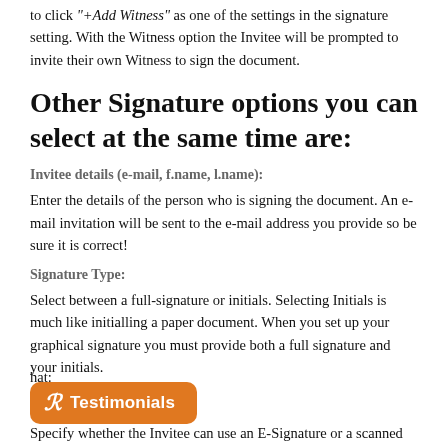to click "+Add Witness" as one of the settings in the signature setting. With the Witness option the Invitee will be prompted to invite their own Witness to sign the document.
Other Signature options you can select at the same time are:
Invitee details (e-mail, f.name, l.name):
Enter the details of the person who is signing the document. An e-mail invitation will be sent to the e-mail address you provide so be sure it is correct!
Signature Type:
Select between a full-signature or initials. Selecting Initials is much like initialling a paper document. When you set up your graphical signature you must provide both a full signature and your initials.
[Figure (logo): Orange rounded rectangle badge with stylized R icon and 'Testimonials' text in white]
hat:
Specify whether the Invitee can use an E-Signature or a scanned